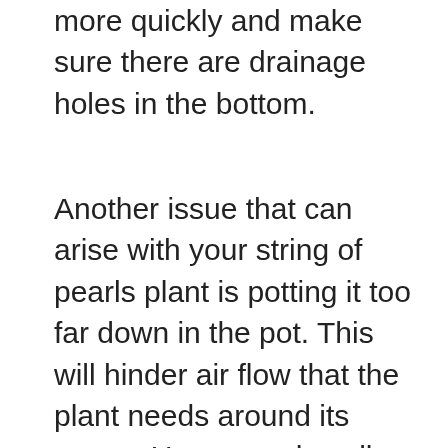more quickly and make sure there are drainage holes in the bottom.
Another issue that can arise with your string of pearls plant is potting it too far down in the pot. This will hinder air flow that the plant needs around its crown. Use enough well-draining soil in your pot so that the crown of the plant is nearly level with the top of the pot. This should leave enough room to water the plant but also allow the plant to have plenty of airflow so that the soil can dry out thoroughly in between waterings.